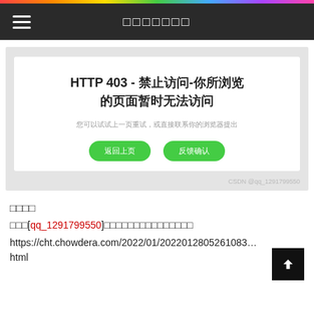[Figure (screenshot): Screenshot of a browser showing HTTP 403 error page with Chinese text: HTTP 403 - 禁止访问-你所浏览的页面暂时无法访问. Two green buttons labeled 返回上页 and 反馈确认. CSDN watermark at bottom right.]
□□□□
□□□[qq_1291799550]□□□□□□□□□□□□□□□
https://cht.chowdera.com/2022/01/20220128052610834html